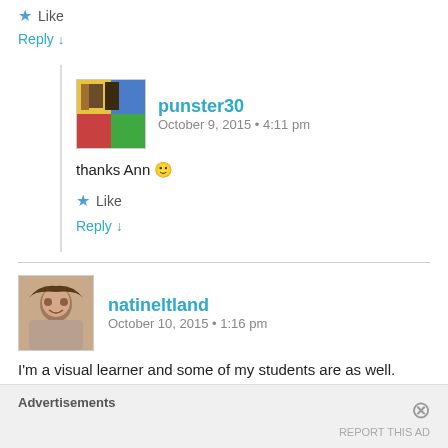★ Like
Reply ↓
punster30
October 9, 2015 • 4:11 pm
thanks Ann 🙂
★ Like
Reply ↓
natineltland
October 10, 2015 • 1:16 pm
I'm a visual learner and some of my students are as well.
Advertisements